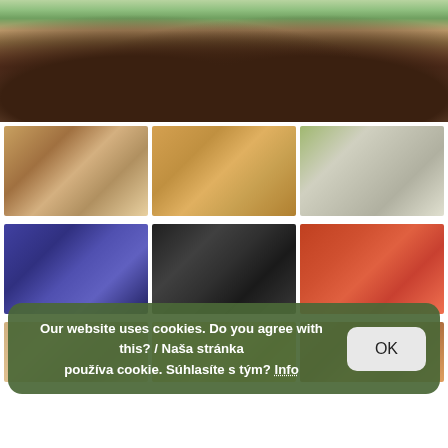[Figure (photo): Park scene with trees, benches, and a building entrance in the background. People visible near the building. Spring foliage.]
[Figure (photo): Grid of food photographs: top row shows a meat dish, fried calamari rings, and a fish/asparagus dish; middle row shows blue cheese, black squid ink pasta, and a bean soup; bottom row shows more food dishes partially visible.]
Our website uses cookies. Do you agree with this? / Naša stránka používa cookie. Súhlasíte s tým? Info